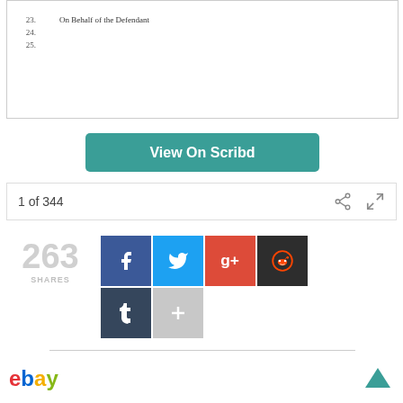[Figure (screenshot): Document preview showing numbered list items 23, 24, 25 from a legal document. Item 23 reads 'On Behalf of the Defendant', items 24 and 25 are blank.]
View On Scribd
1 of 344
263 SHARES
[Figure (infographic): Social share buttons: Facebook, Twitter, Google+, Reddit, Tumblr, and More (+)]
[Figure (logo): eBay logo in multicolor text]